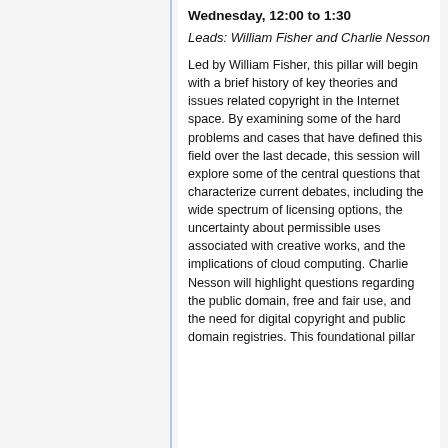Wednesday, 12:00 to 1:30
Leads: William Fisher and Charlie Nesson
Led by William Fisher, this pillar will begin with a brief history of key theories and issues related copyright in the Internet space. By examining some of the hard problems and cases that have defined this field over the last decade, this session will explore some of the central questions that characterize current debates, including the wide spectrum of licensing options, the uncertainty about permissible uses associated with creative works, and the implications of cloud computing. Charlie Nesson will highlight questions regarding the public domain, free and fair use, and the need for digital copyright and public domain registries. This foundational pillar